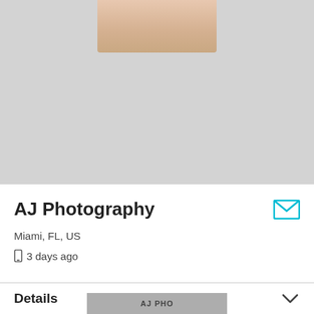[Figure (photo): Partial face/neck photo of a person cropped at the top, shown against light grey background]
AJ Photography
Miami, FL, US
3 days ago
Details
[Figure (photo): Thumbnail image partially visible at bottom of page, appears to show text/logo]